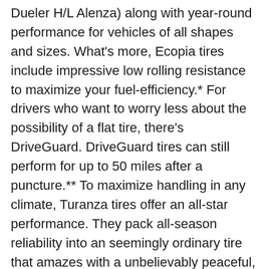Dueler H/L Alenza) along with year-round performance for vehicles of all shapes and sizes. What's more, Ecopia tires include impressive low rolling resistance to maximize your fuel-efficiency.* For drivers who want to worry less about the possibility of a flat tire, there's DriveGuard. DriveGuard tires can still perform for up to 50 miles after a puncture.** To maximize handling in any climate, Turanza tires offer an all-star performance. They pack all-season reliability into an seemingly ordinary tire that amazes with a unbelievably peaceful, smooth ride. Other Bridgestone all-season tires are engineered with a specialty in mind: Potenza and Duravis. When it comes to a thrilling driving experience, Potenza all-season tires are built for sports cars and performance vehicles that need world-class performance and crisp handling year-round. Need off-road traction? Duravis all-season tires are designed for pickup trucks, off-road job sites, and commercial highway driving. Whether you're searching for performance or durability, you'll find a Bridgestone all-season tire in Stoughton for